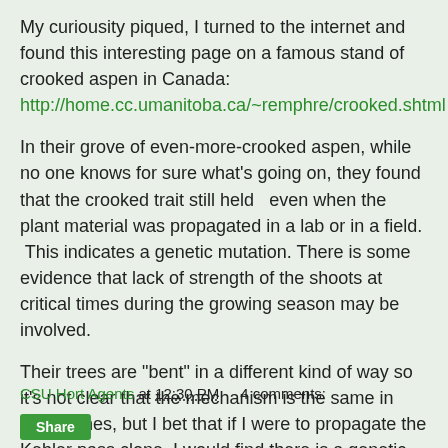My curiousity piqued, I turned to the internet and found this interesting page on a famous stand of crooked aspen in Canada:
http://home.cc.umanitoba.ca/~remphre/crooked.shtml
In their grove of even-more-crooked aspen, while no one knows for sure what's going on, they found that the crooked trait still held  even when the plant material was propagated in a lab or in a field.  This indicates a genetic mutation. There is some evidence that lack of strength of the shoots at critical times during the growing season may be involved.
Their trees are "bent" in a different kind of way so it's not clear that the mechanism is the same in both clones, but I bet that if I were to propagate the Kebler pass clone, I would find there is a genetic mutation at play here as well.  Anyone looking for a good research project?
CSU Hort Agents at 12:30 PM    4 comments: